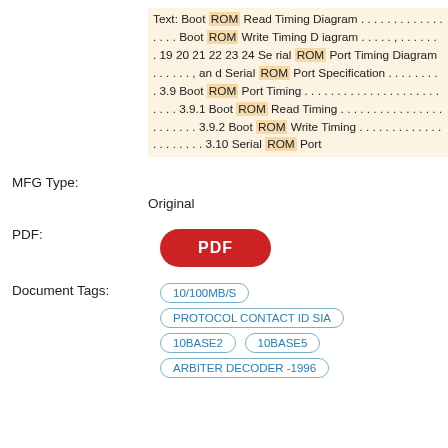Text: Boot ROM Read Timing Diagram . . . . . . . . . . . . . . . . Boot ROM Write Timing Diagram . . . . . , . . . . . . . 19 20 21 22 23 24 Serial ROM Port Timing Diagram . . . . . . , and Serial ROM Port Specification . . . . . . . . . . 3.9 Boot ROM Port Timing . . . . . . . . . . . . . . . . . . . . . . . . . 3.9.1 Boot ROM Read Timing . . . . . . . . . . . . . . . . . . . . . . . . 3.9.2 Boot ROM Write Timing . . . . . . . . . . . . . . . . . . . 3.10 Serial ROM Port
MFG Type:
Original
PDF:
[Figure (other): Red pill-shaped PDF button]
Document Tags:
10/100MB/S
PROTOCOL CONTACT ID SIA
10BASE2
10BASE5
ARBITER DECODER -1996